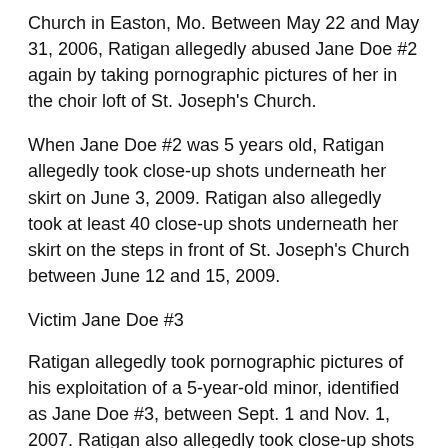Church in Easton, Mo. Between May 22 and May 31, 2006, Ratigan allegedly abused Jane Doe #2 again by taking pornographic pictures of her in the choir loft of St. Joseph's Church.
When Jane Doe #2 was 5 years old, Ratigan allegedly took close-up shots underneath her skirt on June 3, 2009. Ratigan also allegedly took at least 40 close-up shots underneath her skirt on the steps in front of St. Joseph's Church between June 12 and 15, 2009.
Victim Jane Doe #3
Ratigan allegedly took pornographic pictures of his exploitation of a 5-year-old minor, identified as Jane Doe #3, between Sept. 1 and Nov. 1, 2007. Ratigan also allegedly took close-up shots of her pubic area while trying to pull down her pants while she was sleeping between March 1 and 31, 2008.